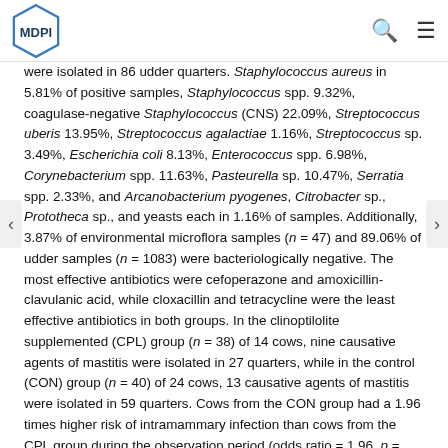MDPI
were isolated in 86 udder quarters. Staphylococcus aureus in 5.81% of positive samples, Staphylococcus spp. 9.32%, coagulase-negative Staphylococcus (CNS) 22.09%, Streptococcus uberis 13.95%, Streptococcus agalactiae 1.16%, Streptococcus sp. 3.49%, Escherichia coli 8.13%, Enterococcus spp. 6.98%, Corynebacterium spp. 11.63%, Pasteurella sp. 10.47%, Serratia spp. 2.33%, and Arcanobacterium pyogenes, Citrobacter sp., Prototheca sp., and yeasts each in 1.16% of samples. Additionally, 3.87% of environmental microflora samples (n = 47) and 89.06% of udder samples (n = 1083) were bacteriologically negative. The most effective antibiotics were cefoperazone and amoxicillin-clavulanic acid, while cloxacillin and tetracycline were the least effective antibiotics in both groups. In the clinoptilolite supplemented (CPL) group (n = 38) of 14 cows, nine causative agents of mastitis were isolated in 27 quarters, while in the control (CON) group (n = 40) of 24 cows, 13 causative agents of mastitis were isolated in 59 quarters. Cows from the CON group had a 1.96 times higher risk of intramammary infection than cows from the CPL group during the observation period (odds ratio = 1.96, p = 0.0031; 95% CI = 1.2570–3.0770). View Full-Text
Keywords: antibiogram; clinoptilolite; cow; microbiological finding; udder